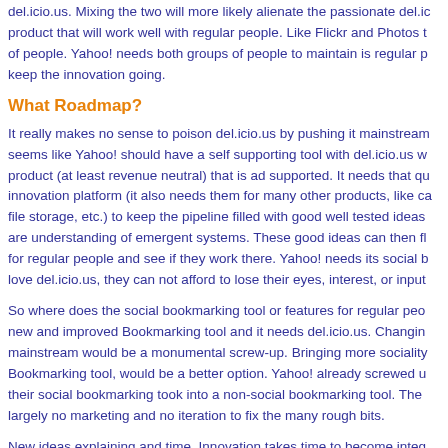del.icio.us. Mixing the two will more likely alienate the passionate del.ic product that will work well with regular people. Like Flickr and Photos t of people. Yahoo! needs both groups of people to maintain is regular p keep the innovation going.
What Roadmap?
It really makes no sense to poison del.icio.us by pushing it mainstream seems like Yahoo! should have a self supporting tool with del.icio.us w product (at least revenue neutral) that is ad supported. It needs that qu innovation platform (it also needs them for many other products, like ca file storage, etc.) to keep the pipeline filled with good well tested ideas are understanding of emergent systems. These good ideas can then fl for regular people and see if they work there. Yahoo! needs its social b love del.icio.us, they can not afford to lose their eyes, interest, or input
So where does the social bookmarking tool or features for regular peo new and improved Bookmarking tool and it needs del.icio.us. Changin mainstream would be a monumental screw-up. Bringing more sociality Bookmarking tool, would be a better option. Yahoo! already screwed u their social bookmarking took into a non-social bookmarking tool. The largely no marketing and no iteration to fix the many rough bits.
New ideas explaining and time. Innovation takes time to become integ